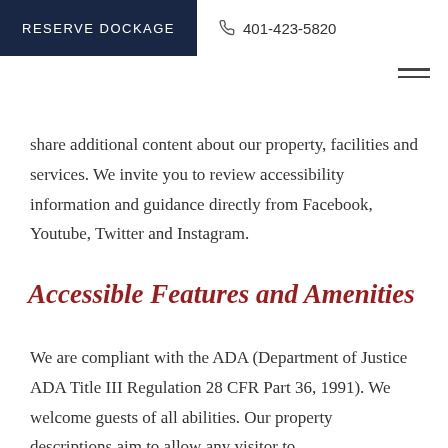RESERVE DOCKAGE   401-423-5820
share additional content about our property, facilities and services. We invite you to review accessibility information and guidance directly from Facebook, Youtube, Twitter and Instagram.
Accessible Features and Amenities
We are compliant with the ADA (Department of Justice ADA Title III Regulation 28 CFR Part 36, 1991). We welcome guests of all abilities. Our property descriptions aim to allow any visitor to